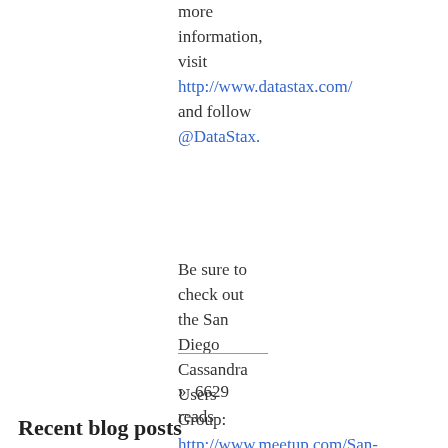more information, visit http://www.datastax.com/ and follow @DataStax.
Be sure to check out the San Diego Cassandra Users Group: http://www.meetup.com/San-Diego-Cassandra-Users/
» 6629 reads
Recent blog posts